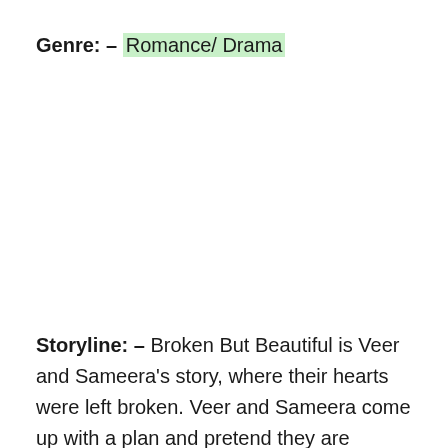Genre: – Romance/ Drama
Storyline: – Broken But Beautiful is Veer and Sameera's story, where their hearts were left broken. Veer and Sameera come up with a plan and pretend they are together to make Kartik jealous. The show then revolves